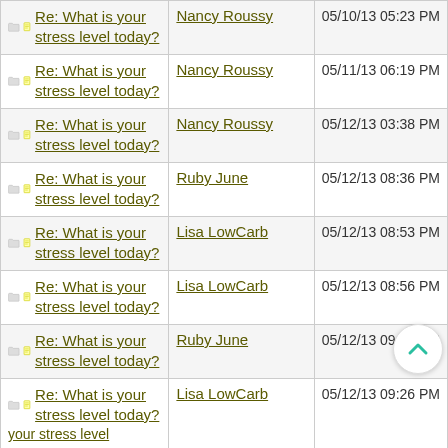| Topic | Author | Date |
| --- | --- | --- |
| Re: What is your stress level today? | Nancy Roussy | 05/10/13 05:23 PM |
| Re: What is your stress level today? | Nancy Roussy | 05/11/13 06:19 PM |
| Re: What is your stress level today? | Nancy Roussy | 05/12/13 03:38 PM |
| Re: What is your stress level today? | Ruby June | 05/12/13 08:36 PM |
| Re: What is your stress level today? | Lisa LowCarb | 05/12/13 08:53 PM |
| Re: What is your stress level today? | Lisa LowCarb | 05/12/13 08:56 PM |
| Re: What is your stress level today? | Ruby June | 05/12/13 09:18 PM |
| Re: What is your stress level today? | Lisa LowCarb | 05/12/13 09:26 PM |